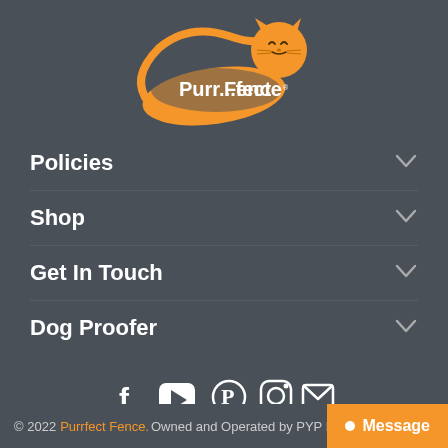[Figure (logo): Purr...fect Fence logo with orange cat silhouette and white text on dark background]
Policies
Shop
Get In Touch
Dog Proofer
[Figure (illustration): Social media icons: Facebook, YouTube, Pinterest, Instagram, Email]
© 2022 Purrfect Fence. Owned and Operated by PYP H... Message